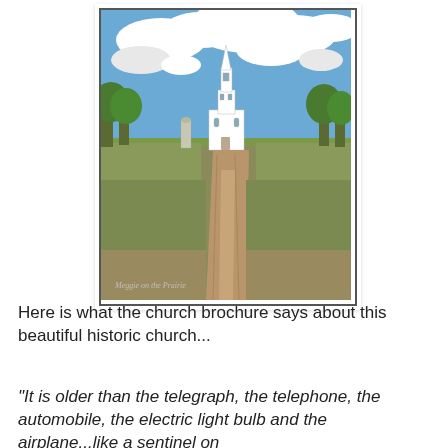[Figure (photo): A white historic church with a tall steeple at the end of a dirt/gravel path, surrounded by green grass and trees under a partly cloudy blue sky. Watermark reads 'Meggie on the Prairie'.]
Here is what the church brochure says about this beautiful historic church...
"It is older than the telegraph, the telephone, the automobile, the electric light bulb and the airplane...like a sentinel on